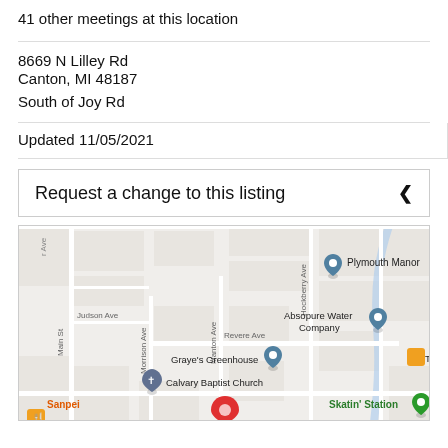41 other meetings at this location
8669 N Lilley Rd
Canton, MI 48187
South of Joy Rd
Updated 11/05/2021
Request a change to this listing
[Figure (map): Google Maps view showing 8669 N Lilley Rd area in Canton, MI. Landmarks visible include Plymouth Manor, Absopure Water Company, Graye's Greenhouse, Calvary Baptist Church, Sanpei restaurant, Skatin' Station, and a red location pin at the bottom center. Street labels include Main St, Judson Ave, Morrison Ave, Manton Ave, Hockberry Ave, Revere Ave.]